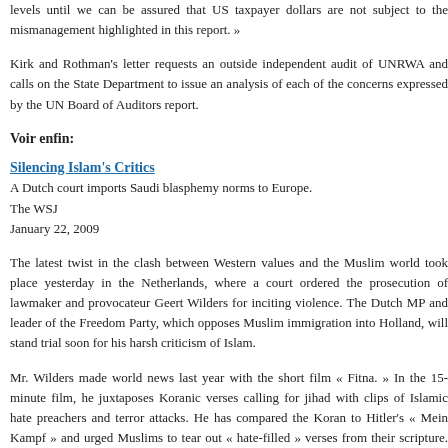levels until we can be assured that US taxpayer dollars are not subject to the mismanagement highlighted in this report. »
Kirk and Rothman's letter requests an outside independent audit of UNRWA and calls on the State Department to issue an analysis of each of the concerns expressed by the UN Board of Auditors report.
Voir enfin:
Silencing Islam's Critics
A Dutch court imports Saudi blasphemy norms to Europe.
The WSJ
January 22, 2009
The latest twist in the clash between Western values and the Muslim world took place yesterday in the Netherlands, where a court ordered the prosecution of lawmaker and provocateur Geert Wilders for inciting violence. The Dutch MP and leader of the Freedom Party, which opposes Muslim immigration into Holland, will stand trial soon for his harsh criticism of Islam.
Mr. Wilders made world news last year with the short film « Fitna. » In the 15-minute film, he juxtaposes Koranic verses calling for jihad with clips of Islamic hate preachers and terror attacks. He has compared the Koran to Hitler's « Mein Kampf » and urged Muslims to tear out « hate-filled » verses from their scripture. This is a frontal assault on Islam — but as Wilders points out, he's targeting the religion, not its followers. « Fitna, » in fact, sparked a refreshing debate between moderate Muslims and non-Muslims in the Netherlands and beyond.
There are of course limits to free speech, such as calls for violence. But one doesn't